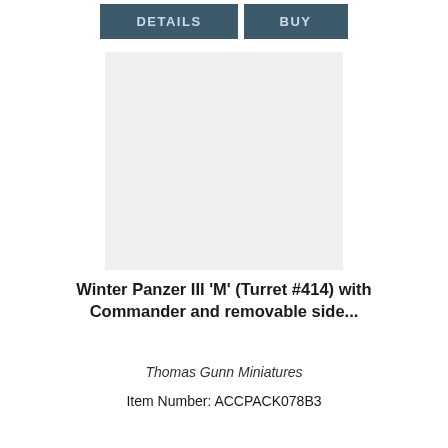DETAILS   BUY
[Figure (photo): Light grey placeholder image area for product photo of Winter Panzer III 'M' miniature]
Winter Panzer III 'M' (Turret #414) with Commander and removable side...
Thomas Gunn Miniatures
Item Number: ACCPACK078B3